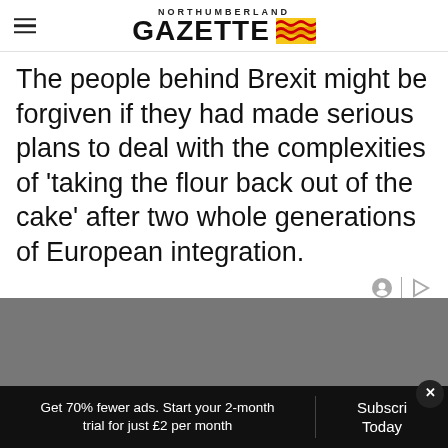NORTHUMBERLAND GAZETTE
The people behind Brexit might be forgiven if they had made serious plans to deal with the complexities of ‘taking the flour back out of the cake’ after two whole generations of European integration.
[Figure (other): Gray advertisement block area]
Get 70% fewer ads. Start your 2-month trial for just £2 per month
Subscribe Today